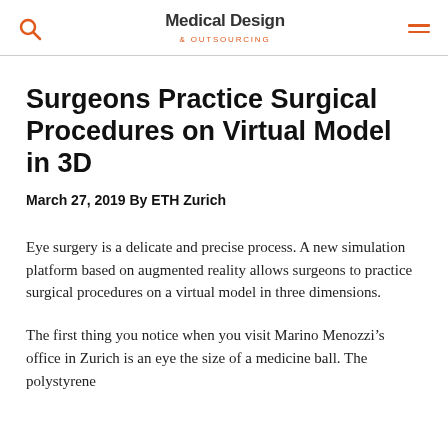Medical Design & Outsourcing
Surgeons Practice Surgical Procedures on Virtual Model in 3D
March 27, 2019 By ETH Zurich
Eye surgery is a delicate and precise process. A new simulation platform based on augmented reality allows surgeons to practice surgical procedures on a virtual model in three dimensions.
The first thing you notice when you visit Marino Menozzi’s office in Zurich is an eye the size of a medicine ball. The polystyrene